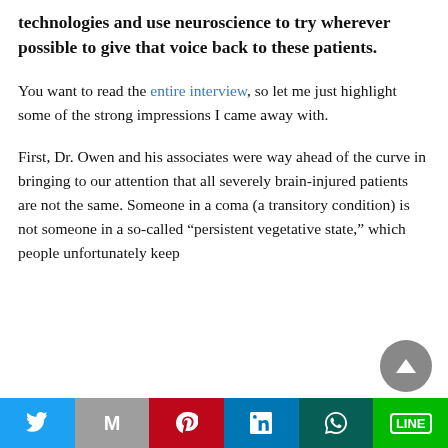technologies and use neuroscience to try wherever possible to give that voice back to these patients.
You want to read the entire interview, so let me just highlight some of the strong impressions I came away with.
First, Dr. Owen and his associates were way ahead of the curve in bringing to our attention that all severely brain-injured patients are not the same. Someone in a coma (a transitory condition) is not someone in a so-called “persistent vegetative state,” which people unfortunately keep
Twitter | Gmail | Pinterest | LinkedIn | WhatsApp | Line